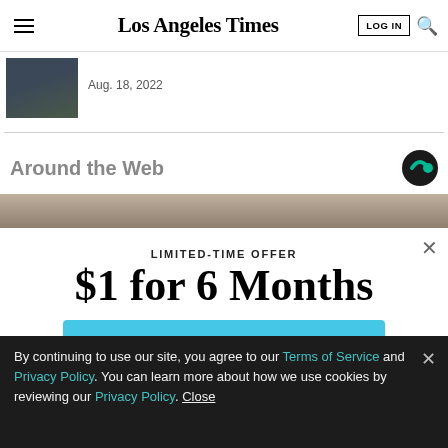Los Angeles Times
Aug. 18, 2022
Around the Web
[Figure (photo): Partial view of a person in dark clothing, cropped article thumbnail]
[Figure (photo): Muted background image strip, blurred person or surface]
LIMITED-TIME OFFER
$1 for 6 Months
SUBSCRIBE NOW
By continuing to use our site, you agree to our Terms of Service and Privacy Policy. You can learn more about how we use cookies by reviewing our Privacy Policy. Close